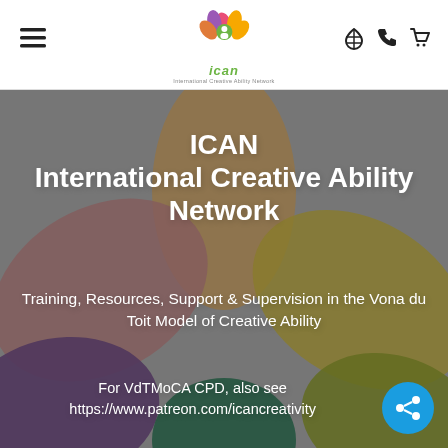ICAN — International Creative Ability Network header navigation
[Figure (logo): ICAN logo with colorful flower petals and green 'ican' text below]
ICAN
International Creative Ability Network
Training, Resources, Support & Supervision in the Vona du Toit Model of Creative Ability
For VdTMoCA CPD, also see https://www.patreon.com/icancreativity